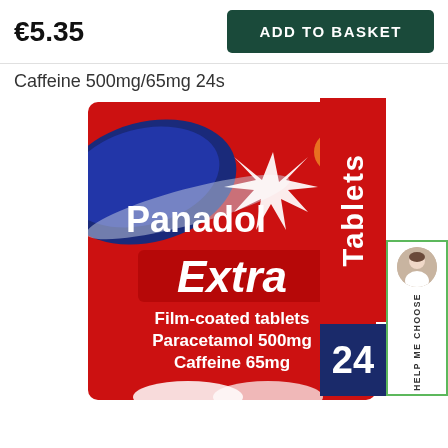€5.35
ADD TO BASKET
Caffeine 500mg/65mg 24s
[Figure (photo): Panadol Extra film-coated tablets box, red with blue logo area, showing brand name Panadol Extra, text Film-coated tablets, Paracetamol 500mg, Caffeine 65mg, with GSK logo. Alongside: red vertical Tablets sidebar, dark blue 24 count box, and green-bordered Help Me Choose panel with person avatar.]